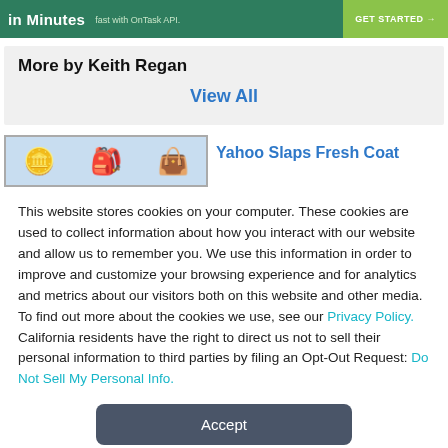[Figure (screenshot): Green banner advertisement with text 'in Minutes' and 'fast with OnTask API' and a 'GET STARTED →' button]
More by Keith Regan
View All
[Figure (screenshot): Article preview image with coin and bag icons on light blue background]
Yahoo Slaps Fresh Coat
This website stores cookies on your computer. These cookies are used to collect information about how you interact with our website and allow us to remember you. We use this information in order to improve and customize your browsing experience and for analytics and metrics about our visitors both on this website and other media. To find out more about the cookies we use, see our Privacy Policy. California residents have the right to direct us not to sell their personal information to third parties by filing an Opt-Out Request: Do Not Sell My Personal Info.
Accept